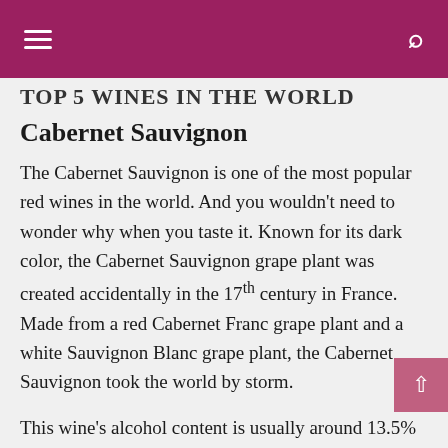TOP 5 WINES IN THE WORLD
Cabernet Sauvignon
The Cabernet Sauvignon is one of the most popular red wines in the world. And you wouldn't need to wonder why when you taste it. Known for its dark color, the Cabernet Sauvignon grape plant was created accidentally in the 17th century in France. Made from a red Cabernet Franc grape plant and a white Sauvignon Blanc grape plant, the Cabernet Sauvignon took the world by storm.
This wine's alcohol content is usually around 13.5% to 15%. It's not known for its sweetness rather its array of flavors from a hint of green pepper to a taste of dark fruits like cherries. If you want to drink this wine or consume any other form of alcohol,